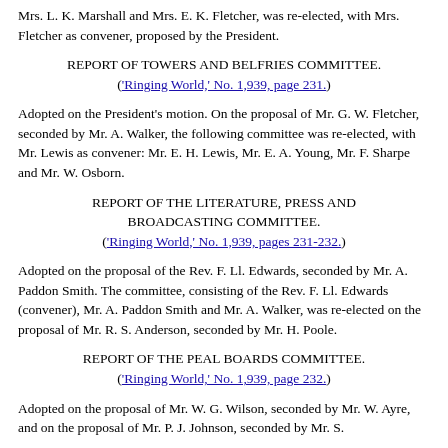Mrs. L. K. Marshall and Mrs. E. K. Fletcher, was re-elected, with Mrs. Fletcher as convener, proposed by the President.
REPORT OF TOWERS AND BELFRIES COMMITTEE. ('Ringing World,' No. 1,939, page 231.)
Adopted on the President's motion. On the proposal of Mr. G. W. Fletcher, seconded by Mr. A. Walker, the following committee was re-elected, with Mr. Lewis as convener: Mr. E. H. Lewis, Mr. E. A. Young, Mr. F. Sharpe and Mr. W. Osborn.
REPORT OF THE LITERATURE, PRESS AND BROADCASTING COMMITTEE. ('Ringing World,' No. 1,939, pages 231-232.)
Adopted on the proposal of the Rev. F. Ll. Edwards, seconded by Mr. A. Paddon Smith. The committee, consisting of the Rev. F. Ll. Edwards (convener), Mr. A. Paddon Smith and Mr. A. Walker, was re-elected on the proposal of Mr. R. S. Anderson, seconded by Mr. H. Poole.
REPORT OF THE PEAL BOARDS COMMITTEE. ('Ringing World,' No. 1,939, page 232.)
Adopted on the proposal of Mr. W. G. Wilson, seconded by Mr. W. Ayre, and on the proposal of Mr. P. J. Johnson, seconded by Mr. S.